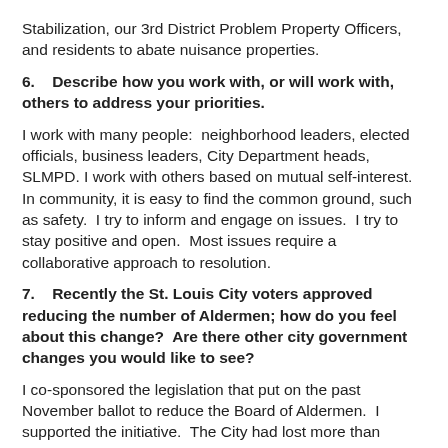Stabilization, our 3rd District Problem Property Officers, and residents to abate nuisance properties.
6.    Describe how you work with, or will work with, others to address your priorities.
I work with many people:  neighborhood leaders, elected officials, business leaders, City Department heads, SLMPD. I work with others based on mutual self-interest.  In community, it is easy to find the common ground, such as safety.  I try to inform and engage on issues.  I try to stay positive and open.  Most issues require a collaborative approach to resolution.
7.    Recently the St. Louis City voters approved reducing the number of Aldermen; how do you feel about this change?  Are there other city government changes you would like to see?
I co-sponsored the legislation that put on the past November ballot to reduce the Board of Aldermen.  I supported the initiative.  The City had lost more than 500,000 people since